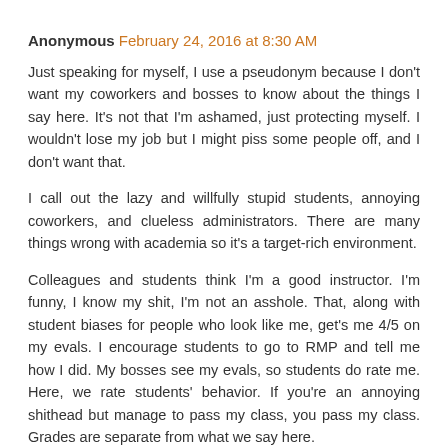Anonymous February 24, 2016 at 8:30 AM
Just speaking for myself, I use a pseudonym because I don't want my coworkers and bosses to know about the things I say here. It's not that I'm ashamed, just protecting myself. I wouldn't lose my job but I might piss some people off, and I don't want that.
I call out the lazy and willfully stupid students, annoying coworkers, and clueless administrators. There are many things wrong with academia so it's a target-rich environment.
Colleagues and students think I'm a good instructor. I'm funny, I know my shit, I'm not an asshole. That, along with student biases for people who look like me, get's me 4/5 on my evals. I encourage students to go to RMP and tell me how I did. My bosses see my evals, so students do rate me. Here, we rate students' behavior. If you're an annoying shithead but manage to pass my class, you pass my class. Grades are separate from what we say here.